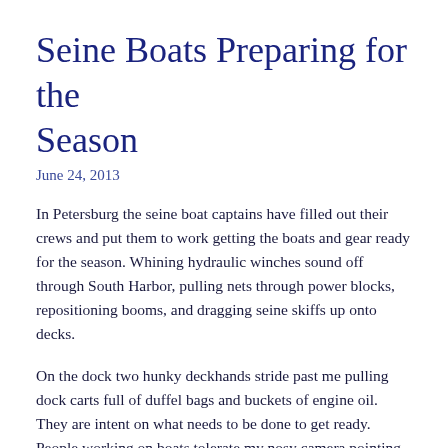Seine Boats Preparing for the Season
June 24, 2013
In Petersburg the seine boat captains have filled out their crews and put them to work getting the boats and gear ready for the season. Whining hydraulic winches sound off through South Harbor, pulling nets through power blocks, repositioning booms, and dragging seine skiffs up onto decks.
On the dock two hunky deckhands stride past me pulling dock carts full of duffel bags and buckets of engine oil. They are intent on what needs to be done to get ready. People working on boats tolerate my nosy camera pointing their way. Just another tourist taking pictures.